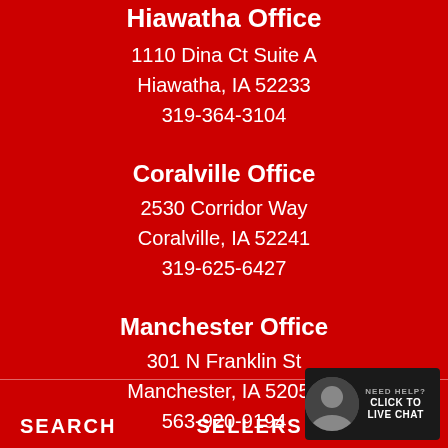Hiawatha Office
1110 Dina Ct Suite A
Hiawatha, IA 52233
319-364-3104
Coralville Office
2530 Corridor Way
Coralville, IA 52241
319-625-6427
Manchester Office
301 N Franklin St
Manchester, IA 52057
563-920-9194
SEARCH   SELLERS   C